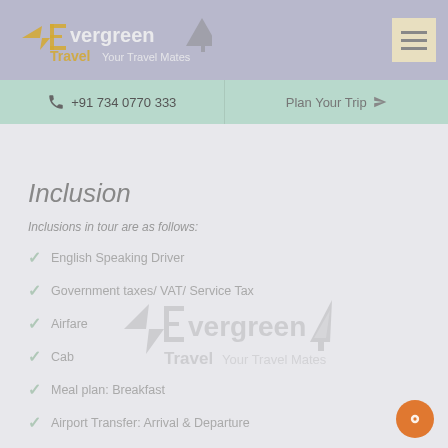Evergreen Travel Your Travel Mates
+91 734 0770 333 | Plan Your Trip
Inclusion
Inclusions in tour are as follows:
English Speaking Driver
Government taxes/ VAT/ Service Tax
Airfare
Cab
Meal plan: Breakfast
Airport Transfer: Arrival & Departure